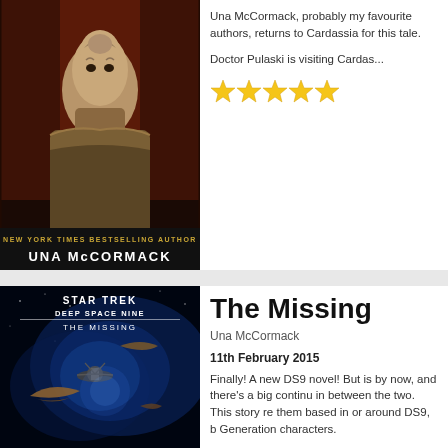[Figure (photo): Book cover showing a Cardassian character from Star Trek, with text 'NEW YORK TIMES BESTSELLING AUTHOR UNA McCORMACK']
Una McCormack, probably my favourite authors, returns to Cardassia for this tale.
Doctor Pulaski is visiting Cardas...
[Figure (other): Five yellow star rating icons]
[Figure (photo): Book cover for Star Trek Deep Space Nine: The Missing, showing spaceships in battle]
The Missing
Una McCormack
11th February 2015
Finally! A new DS9 novel! But is by now, and there's a big continu in between the two. This story re them based in or around DS9, b Generation characters.